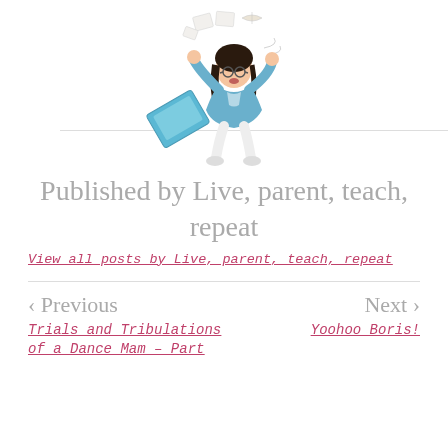[Figure (illustration): Cartoon illustration of a woman with dark hair and glasses, arms raised, surrounded by flying papers and a laptop, wearing a blue coat and white pants]
Published by Live, parent, teach, repeat
View all posts by Live, parent, teach, repeat
< Previous
Next >
Trials and Tribulations of a Dance Mam – Part
Yoohoo Boris!